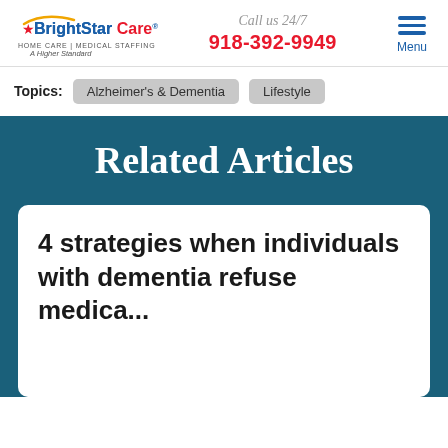BrightStar Care HOME CARE | MEDICAL STAFFING A Higher Standard | Call us 24/7 918-392-9949 | Menu
Topics: Alzheimer's & Dementia  Lifestyle
Related Articles
4 strategies when individuals with dementia refuse medica...